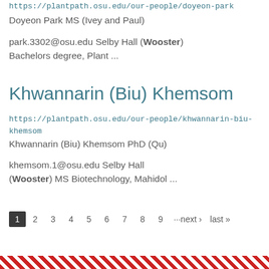https://plantpath.osu.edu/our-people/doyeon-park
Doyeon Park MS (Ivey and Paul)
park.3302@osu.edu Selby Hall (Wooster) Bachelors degree, Plant ...
Khwannarin (Biu) Khemsom
https://plantpath.osu.edu/our-people/khwannarin-biu-khemsom
Khwannarin (Biu) Khemsom PhD (Qu)
khemsom.1@osu.edu Selby Hall (Wooster) MS Biotechnology, Mahidol ...
1 2 3 4 5 6 7 8 9 ···next › last »